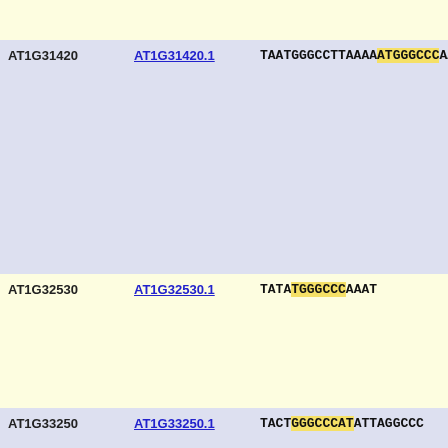| Gene ID | Transcript | Sequence |
| --- | --- | --- |
| AT1G31420 | AT1G31420.1 | TAATGGGCCTTAAAAATGGGCCCAATG |
| AT1G32530 | AT1G32530.1 | TATATGGGCCCAAAT |
| AT1G33250 | AT1G33250.1 | TACTGGGCCCATATTAGGCCC |